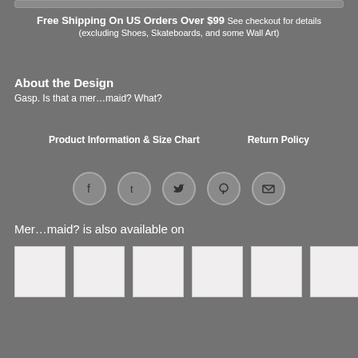Free Shipping On US Orders Over $99 See checkout for details (excluding Shoes, Skateboards, and some Wall Art)
About the Design
Gasp. Is that a mer...maid? What?
Product Information & Size Chart    Return Policy
[Figure (illustration): Row of five social media icon buttons (Facebook, Tumblr, Twitter, Pinterest, Email) as circular grey icons with white symbols]
Mer...maid? is also available on
[Figure (illustration): Six white/light product thumbnail image placeholders arranged in a row]